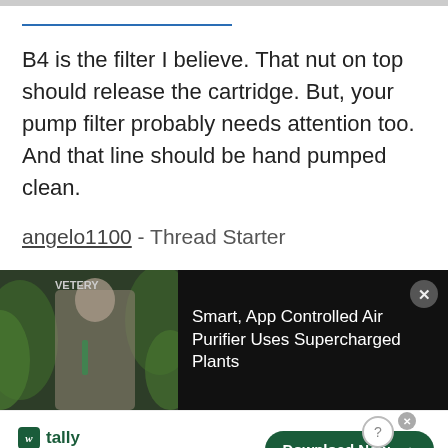B4 is the filter I believe. That nut on top should release the cartridge. But, your pump filter probably needs attention too. And that line should be hand pumped clean.
angelo1100 - Thread Starter
[Figure (screenshot): Video advertisement for Smart, App Controlled Air Purifier Uses Supercharged Plants. Dark background with video thumbnail showing a man and plants.]
[Figure (screenshot): Banner advertisement for Tally: Fast credit card payoff, with a green Download Now button.]